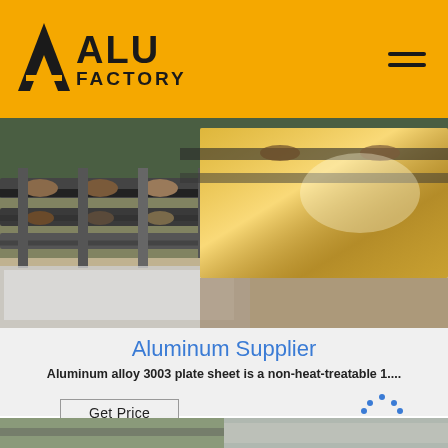[Figure (logo): ALU FACTORY logo with yellow triangular icon on yellow background header bar, with hamburger menu icon on right]
[Figure (photo): Industrial aluminum sheet rolling/processing machinery in a factory setting, showing metal rollers and a large golden aluminum sheet being processed]
Aluminum Supplier
Aluminum alloy 3003 plate sheet is a non-heat-treatable 1....
[Figure (other): Get Price button and TOP navigation button]
[Figure (photo): Bottom thumbnail strip showing partial product images]